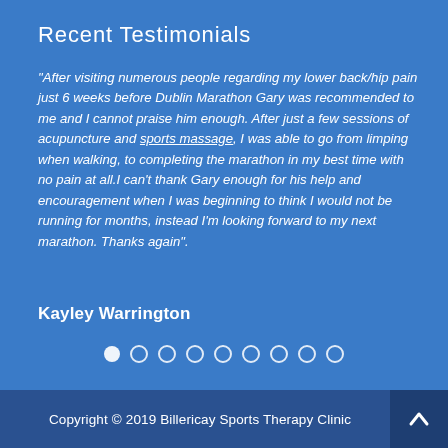Recent Testimonials
"After visiting numerous people regarding my lower back/hip pain just 6 weeks before Dublin Marathon Gary was recommended to me and I cannot praise him enough. After just a few sessions of acupuncture and sports massage, I was able to go from limping when walking, to completing the marathon in my best time with no pain at all.I can't thank Gary enough for his help and encouragement when I was beginning to think I would not be running for months, instead I'm looking forward to my next marathon. Thanks again".
Kayley Warrington
Copyright © 2019 Billericay Sports Therapy Clinic